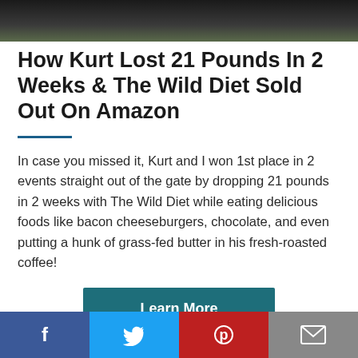[Figure (photo): Partial photo at top of page showing dark background, bottom edge of a person in black clothing with green grass visible]
How Kurt Lost 21 Pounds In 2 Weeks & The Wild Diet Sold Out On Amazon
In case you missed it, Kurt and I won 1st place in 2 events straight out of the gate by dropping 21 pounds in 2 weeks with The Wild Diet while eating delicious foods like bacon cheeseburgers, chocolate, and even putting a hunk of grass-fed butter in his fresh-roasted coffee!
Learn More